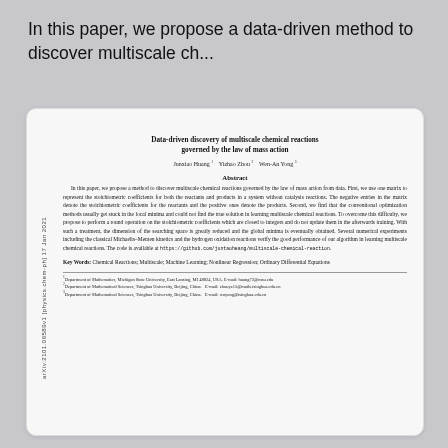In this paper, we propose a data-driven method to discover multiscale ch...
[Figure (other): Preview card of a scientific paper titled 'Data-driven discovery of multiscale chemical reactions governed by the law of mass action' by Junxiao Huang, Yizhao Zhou, Wen-An Yong, with abstract, keywords, and footnotes. ArXiv watermark on left side: arXiv:2101.06589v1 [physics.chem-ph] 17 Jan 2021.]
Abstract
In this paper, we propose a method to discover multiscale chemical reactions governed by the law of mass action from data. First, we use one matrix to represent the stoichiometric coefficients for both the reactants and products in a system without catalysis reactions. The negative entries in the matrix denote the stoichiometric coefficients for the reactants and the positive ones denote the products. Second, we find that the conventional optimization methods usually get stuck in the local minima and could not find the true solution in learning multiscale chemical reactions. To overcome this difficulty, we propose to perform a round operation on the stoichiometric coefficients which are closed to integers and do not update them in the afterwards training. With such a treatment, the dimension of the searching space is greatly reduced and the global minima is eventually obtained. Several numerical experiments including the classical Michaelis-Menten kinetics and the hydrogen oxidation reactions verify the good performance of our algorithm in learning multiscale chemical reactions. The code is available at https://github.com/juntaoheang/multiscale-chemical-reaction.
Key Words: Chemical Reactions; Multiscale; Machine Learning; Nonlinear Regression; Ordinary Differential Equations
1Department of Mathematics, Michigan State University, East Lansing, MI 48824, USA. E-mail: huang73@msu.edu
2Department of Mathematical Sciences, Tsinghua University, Beijing, China. E-mail: zhouyz15@mails.tsinghua.edu.cn
3Department of Mathematical Sciences, Tsinghua University, Beijing, China. E-mail: wayong@tsinghua.edu.cn